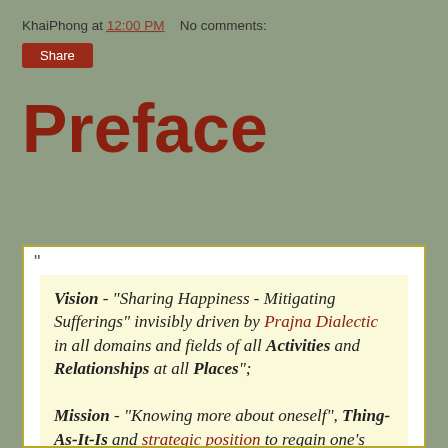KhaiPhong at 12:00 PM   No comments:
Share
Preface
Vision - "Sharing Happiness - Mitigating Sufferings" invisibly driven by Prajna Dialectic in all domains and fields of all Activities and Relationships at all Places"; Mission - "Knowing more about oneself", Thing-As-It-Is and strategic position to regain one's innate [ Latin Humanitas / Buddha Nature / Kingdom of God within / TRUTH ] in